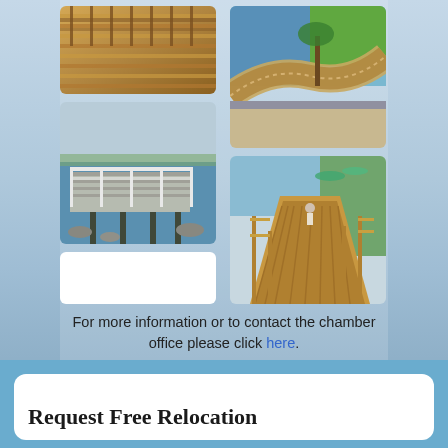[Figure (photo): Wooden deck with railing viewed from above, warm brown tones]
[Figure (photo): Curved composite deck/boardwalk path near water with tropical plants]
[Figure (photo): White railing dock/pier over water with distant shoreline]
[Figure (photo): Curved wooden boardwalk with fencing near pool and tropical vegetation]
For more information or to contact the chamber office please click here.
Request Free Relocation